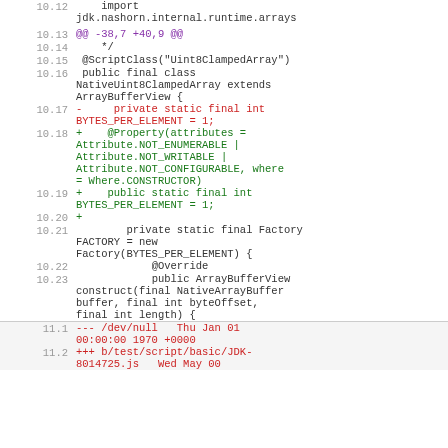10.12  import jdk.nashorn.internal.runtime.arrays
10.13  @@ -38,7 +40,9 @@
10.14   */
10.15   @ScriptClass("Uint8ClampedArray")
10.16   public final class NativeUint8ClampedArray extends ArrayBufferView {
10.17  -    private static final int BYTES_PER_ELEMENT = 1;
10.18  +    @Property(attributes = Attribute.NOT_ENUMERABLE | Attribute.NOT_WRITABLE | Attribute.NOT_CONFIGURABLE, where = Where.CONSTRUCTOR)
10.19  +    public static final int BYTES_PER_ELEMENT = 1;
10.20  +
10.21       private static final Factory FACTORY = new Factory(BYTES_PER_ELEMENT) {
10.22          @Override
10.23          public ArrayBufferView construct(final NativeArrayBuffer buffer, final int byteOffset, final int length) {
11.1  --- /dev/null   Thu Jan 01 00:00:00 1970 +0000
11.2  +++ b/test/script/basic/JDK-8014725.js  Wed May 00